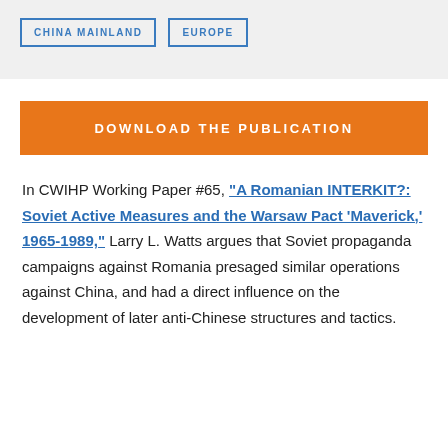CHINA MAINLAND
EUROPE
DOWNLOAD THE PUBLICATION
In CWIHP Working Paper #65, "A Romanian INTERKIT?: Soviet Active Measures and the Warsaw Pact 'Maverick,' 1965-1989," Larry L. Watts argues that Soviet propaganda campaigns against Romania presaged similar operations against China, and had a direct influence on the development of later anti-Chinese structures and tactics.